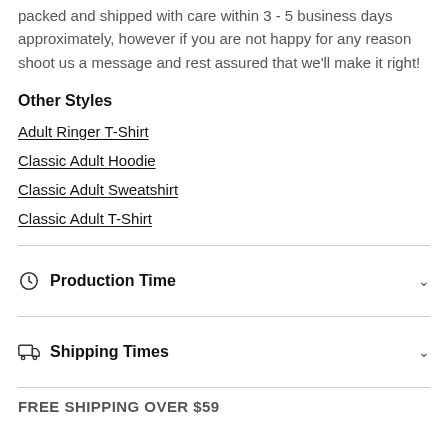packed and shipped with care within 3 - 5 business days approximately, however if you are not happy for any reason shoot us a message and rest assured that we'll make it right!
Other Styles
Adult Ringer T-Shirt
Classic Adult Hoodie
Classic Adult Sweatshirt
Classic Adult T-Shirt
Production Time
Shipping Times
FREE SHIPPING OVER $59